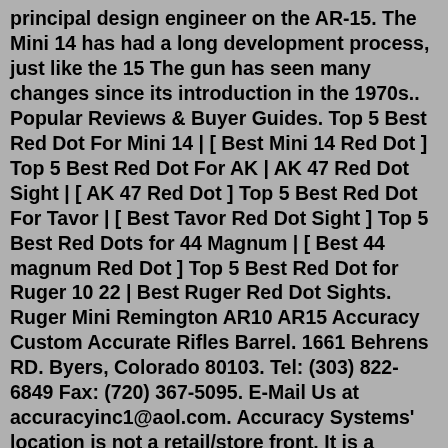principal design engineer on the AR-15. The Mini 14 has had a long development process, just like the 15 The gun has seen many changes since its introduction in the 1970s.. Popular Reviews & Buyer Guides. Top 5 Best Red Dot For Mini 14 | [ Best Mini 14 Red Dot ] Top 5 Best Red Dot For AK | AK 47 Red Dot Sight | [ AK 47 Red Dot ] Top 5 Best Red Dot For Tavor | [ Best Tavor Red Dot Sight ] Top 5 Best Red Dots for 44 Magnum | [ Best 44 magnum Red Dot ] Top 5 Best Red Dot for Ruger 10 22 | Best Ruger Red Dot Sights. Ruger Mini Remington AR10 AR15 Accuracy Custom Accurate Rifles Barrel. 1661 Behrens RD. Byers, Colorado 80103. Tel: (303) 822-6849 Fax: (720) 367-5095. E-Mail Us at accuracyinc1@aol.com. Accuracy Systems' location is not a retail/store front. It is a machine shop with dangerous machines running. The author's Ruger Mini - 14 with an original Side Get the best deals for ruger mini 14 stock at eBay The A-TM Folding Stock is the perfect complement to your Ruger® Mini - 14 ® Prije 6 mjeseci Promag Pm271 Ruger Tactical Folding Stock Mini - 14 (Thirty Blac